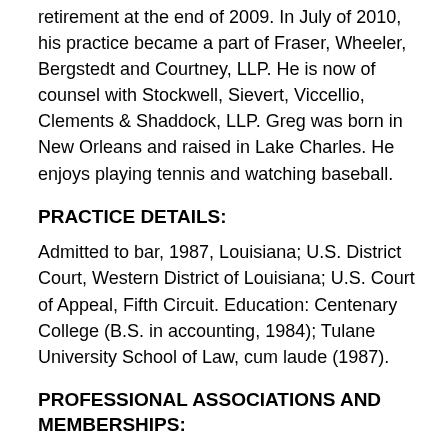retirement at the end of 2009. In July of 2010, his practice became a part of Fraser, Wheeler, Bergstedt and Courtney, LLP. He is now of counsel with Stockwell, Sievert, Viccellio, Clements & Shaddock, LLP. Greg was born in New Orleans and raised in Lake Charles. He enjoys playing tennis and watching baseball.
PRACTICE DETAILS:
Admitted to bar, 1987, Louisiana; U.S. District Court, Western District of Louisiana; U.S. Court of Appeal, Fifth Circuit. Education: Centenary College (B.S. in accounting, 1984); Tulane University School of Law, cum laude (1987).
PROFESSIONAL ASSOCIATIONS AND MEMBERSHIPS:
Louisiana State Bar Association, Member